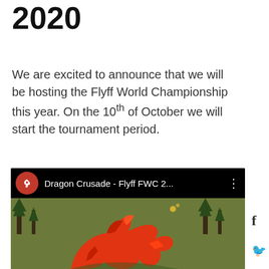2020
We are excited to announce that we will be hosting the Flyff World Championship this year. On the 10th of October we will start the tournament period.
[Figure (screenshot): YouTube video embed showing Dragon Crusade - Flyff FWC 2... with a red dragon creature visible in the thumbnail against a green background with trees.]